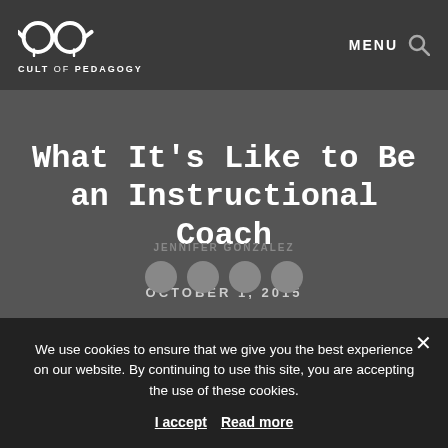CULT OF PEDAGOGY — MENU
What It's Like to Be an Instructional Coach
OCTOBER 1, 2015
[Figure (photo): Circular author avatar photo of Jennifer Gonzalez]
JENNIFER GONZALEZ
We use cookies to ensure that we give you the best experience on our website. By continuing to use this site, you are accepting the use of these cookies.
I accept   Read more